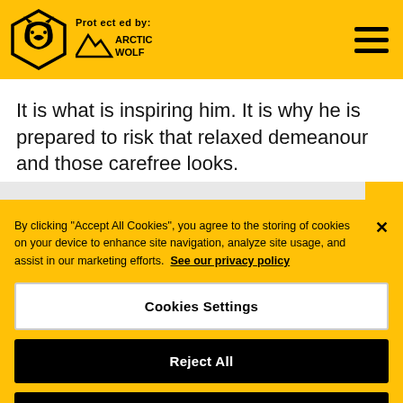Protected by: ARCTIC WOLF
It is what is inspiring him. It is why he is prepared to risk that relaxed demeanour and those carefree looks.
By clicking "Accept All Cookies", you agree to the storing of cookies on your device to enhance site navigation, analyze site usage, and assist in our marketing efforts. See our privacy policy
Cookies Settings
Reject All
Accept All Cookies